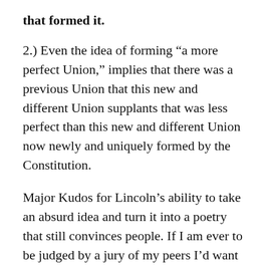that formed it.
2.) Even the idea of forming “a more perfect Union,” implies that there was a previous Union that this new and different Union supplants that was less perfect than this new and different Union now newly and uniquely formed by the Constitution.
Major Kudos for Lincoln’s ability to take an absurd idea and turn it into a poetry that still convinces people. If I am ever to be judged by a jury of my peers I’d want someone with Lincoln’s ability with the use of  language to conceal to represent me.